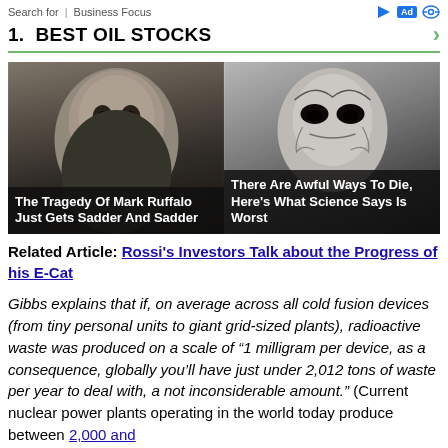Search for  |  Business Focus
1.  BEST OIL STOCKS
[Figure (photo): Two-panel advertisement image. Left: man with gray beard (resembling Mark Ruffalo) with text overlay 'The Tragedy Of Mark Ruffalo Just Gets Sadder And Sadder'. Right: eerie dark artistic face with text overlay 'There Are Awful Ways To Die, Here's What Science Says Is Worst'.]
Related Article: Rossi's Investors Talk about the Progress of his E-Cat
Gibbs explains that if, on average across all cold fusion devices (from tiny personal units to giant grid-sized plants), radioactive waste was produced on a scale of "1 milligram per device, as a consequence, globally you'll have just under 2,012 tons of waste per year to deal with, a not inconsiderable amount." (Current nuclear power plants operating in the world today produce between 2,000 and